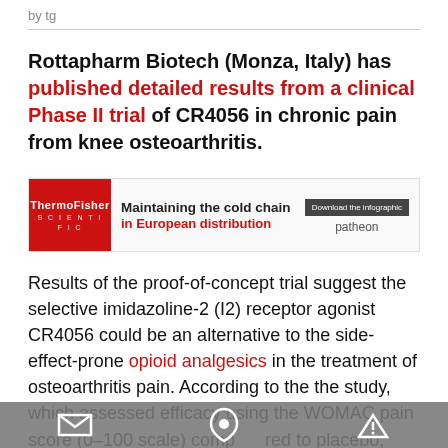by tg
Rottapharm Biotech (Monza, Italy) has published detailed results from a clinical Phase II trial of CR4056 in chronic pain from knee osteoarthritis.
[Figure (infographic): ThermoFisher Scientific advertisement banner: 'Maintaining the cold chain in European distribution' with 'Download the infographic' button and 'patheon' branding]
Results of the proof-of-concept trial suggest the selective imidazoline-2 (I2) receptor agonist CR4056 could be an alternative to the side-effect-prone opioid analgesics in the treatment of osteoarthritis pain. According to the the study, which assessed efficacy using the WOMAC pain score (0–100 scale) compared to placebo, CR4056